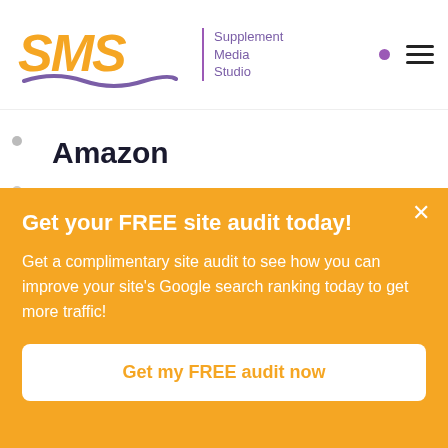[Figure (logo): SMS - Supplement Media Studio logo with orange bold italic SMS text, purple wave underline, vertical divider, and purple text 'Supplement Media Studio']
Amazon
Get your FREE site audit today!
Get a complimentary site audit to see how you can improve your site's Google search ranking today to get more traffic!
Get my FREE audit now